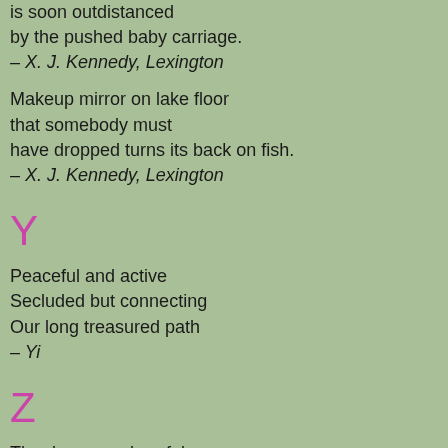is soon outdistanced
by the pushed baby carriage.
– X. J. Kennedy, Lexington
Makeup mirror on lake floor
that somebody must
have dropped turns its back on fish.
– X. J. Kennedy, Lexington
Y
Peaceful and active
Secluded but connecting
Our long treasured path
– Yi
Z
The dogs are cheerful
They bark and they lick my face
Then I wash my face